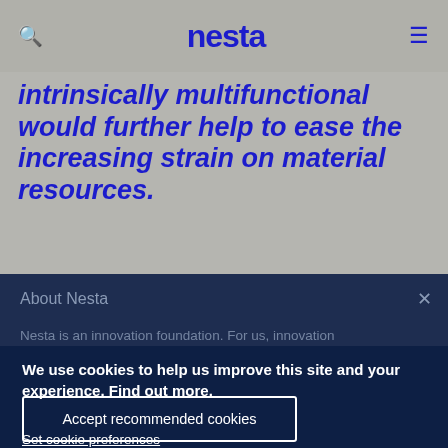nesta
intrinsically multifunctional would further help to ease the increasing strain on material resources.
About Nesta
Nesta is an innovation foundation. For us, innovation
We use cookies to help us improve this site and your experience. Find out more.
Accept recommended cookies
Set cookie preferences